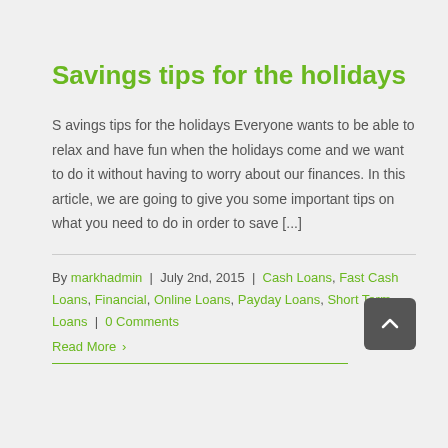Savings tips for the holidays
S avings tips for the holidays Everyone wants to be able to relax and have fun when the holidays come and we want to do it without having to worry about our finances. In this article, we are going to give you some important tips on what you need to do in order to save [...]
By markhadmin | July 2nd, 2015 | Cash Loans, Fast Cash Loans, Financial, Online Loans, Payday Loans, Short Term Loans | 0 Comments
Read More >